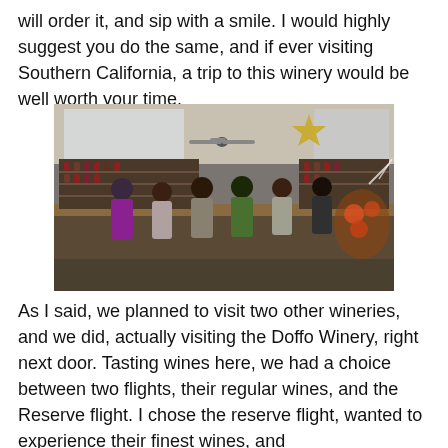will order it, and sip with a smile. I would highly suggest you do the same, and if ever visiting Southern California, a trip to this winery would be well worth your time.
[Figure (photo): Interior of a winery tasting room with a long wooden bar counter. Multiple people stand at the bar tasting wine. Shelves of wine bottles line the walls behind the bar. A decorative star hangs from the ceiling. A floral arrangement is visible on the right side.]
As I said, we planned to visit two other wineries, and we did, actually visiting the Doffo Winery, right next door. Tasting wines here, we had a choice between two flights, their regular wines, and the Reserve flight. I chose the reserve flight, wanted to experience their finest wines, and